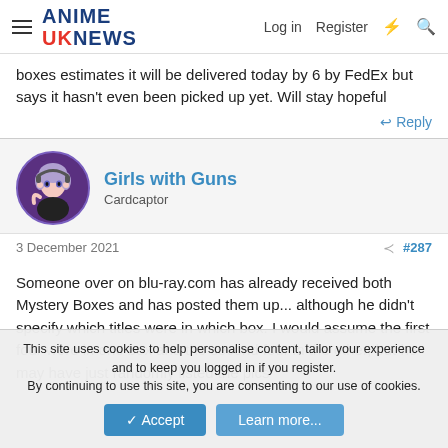ANIME UK NEWS — Log in | Register
boxes estimates it will be delivered today by 6 by FedEx but says it hasn't even been picked up yet. Will stay hopeful
↩ Reply
Girls with Guns
Cardcaptor
3 December 2021  #287
Someone over on blu-ray.com has already received both Mystery Boxes and has posted them up... although he didn't specify which titles were in which box. I would assume the first four were in one box and the second four in the other, but he may have just randomly listed the pics
This site uses cookies to help personalise content, tailor your experience and to keep you logged in if you register.
By continuing to use this site, you are consenting to our use of cookies.